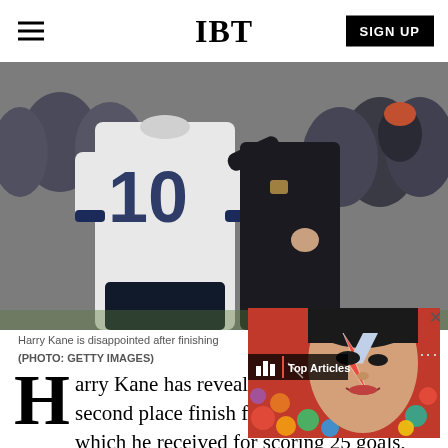IBT
[Figure (photo): Harry Kane wearing number 10 Tottenham Hotspur shirt, being consoled or greeted by a man in dark jacket, with crowd in background]
Harry Kane is disappointed after finishing (PHOTO: GETTY IMAGES)
Harry Kane has revealed he would swap a second place finish for his golden boot which he received for scoring 25 goals,